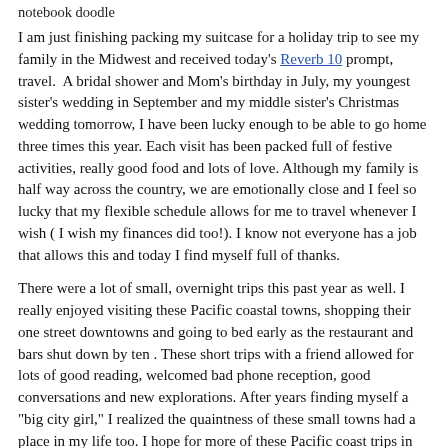notebook doodle
I am just finishing packing my suitcase for a holiday trip to see my family in the Midwest and received today's Reverb 10 prompt, travel.  A bridal shower and Mom's birthday in July, my youngest sister's wedding in September and my middle sister's Christmas wedding tomorrow, I have been lucky enough to be able to go home three times this year. Each visit has been packed full of festive activities, really good food and lots of love. Although my family is half way across the country, we are emotionally close and I feel so lucky that my flexible schedule allows for me to travel whenever I wish ( I wish my finances did too!). I know not everyone has a job that allows this and today I find myself full of thanks.
There were a lot of small, overnight trips this past year as well. I really enjoyed visiting these Pacific coastal towns, shopping their one street downtowns and going to bed early as the restaurant and bars shut down by ten . These short trips with a friend allowed for lots of good reading, welcomed bad phone reception, good conversations and new explorations. After years finding myself a "big city girl," I realized the quaintness of these small towns had a place in my life too. I hope for more of these Pacific coast trips in 2011.